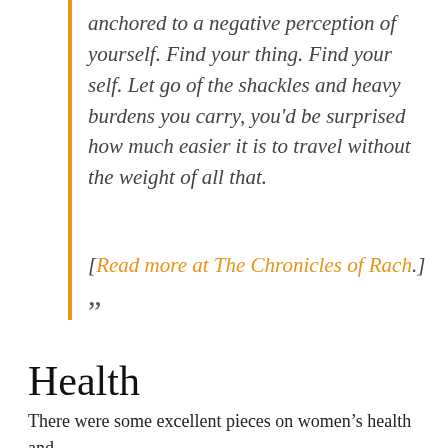anchored to a negative perception of yourself. Find your thing. Find your self. Let go of the shackles and heavy burdens you carry, you'd be surprised how much easier it is to travel without the weight of all that.
[Read more at The Chronicles of Rach.]
”
Health
There were some excellent pieces on women’s health and